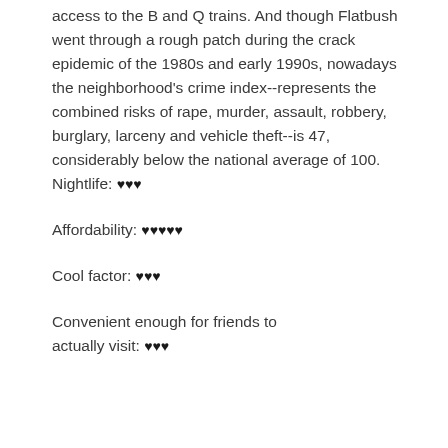access to the B and Q trains. And though Flatbush went through a rough patch during the crack epidemic of the 1980s and early 1990s, nowadays the neighborhood's crime index--represents the combined risks of rape, murder, assault, robbery, burglary, larceny and vehicle theft--is 47, considerably below the national average of 100.
Nightlife: ♥♥♥
Affordability: ♥♥♥♥♥
Cool factor: ♥♥♥
Convenient enough for friends to actually visit: ♥♥♥